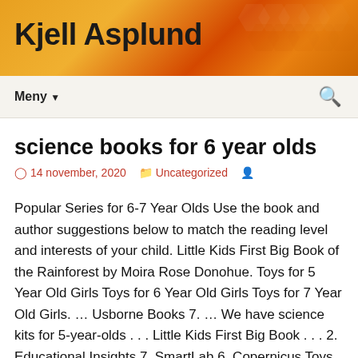Kjell Asplund
science books for 6 year olds
14 november, 2020  Uncategorized
Popular Series for 6-7 Year Olds Use the book and author suggestions below to match the reading level and interests of your child. Little Kids First Big Book of the Rainforest by Moira Rose Donohue. Toys for 5 Year Old Girls Toys for 6 Year Old Girls Toys for 7 Year Old Girls. ... Usborne Books 7. ... We have science kits for 5-year-olds . . . Little Kids First Big Book . . . 2. Educational Insights 7. SmartLab 6. Copernicus Toys 6. Science Book Series . LEGO Technic 7. The colorful books in the National Geographic Little Kids First Big Book of Series are perfect curiosity-sparkers for kids in grades